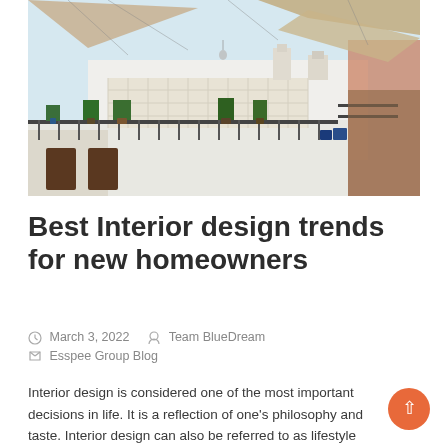[Figure (photo): A rooftop terrace or courtyard with white walls, ornate railings, potted palm plants, and multiple triangular shade sails in beige/tan color overhead. Warm, bright daylight, Mediterranean or Middle Eastern architectural style.]
Best Interior design trends for new homeowners
March 3, 2022   Team BlueDream   Esspee Group Blog
Interior design is considered one of the most important decisions in life. It is a reflection of one's philosophy and taste. Interior design can also be referred to as lifestyle design and